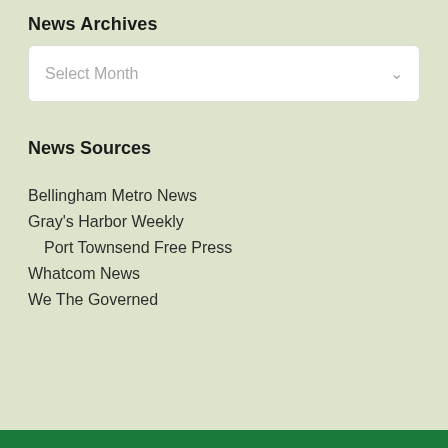News Archives
Select Month
News Sources
Bellingham Metro News
Gray's Harbor Weekly
Port Townsend Free Press
Whatcom News
We The Governed